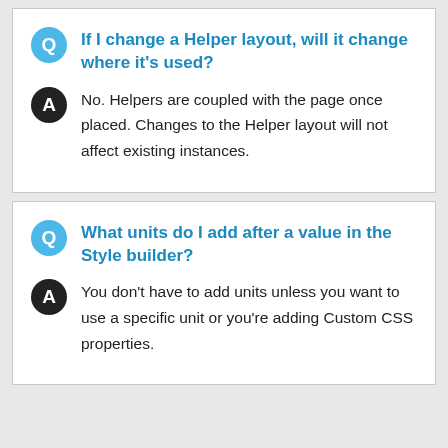If I change a Helper layout, will it change where it's used?
No. Helpers are coupled with the page once placed. Changes to the Helper layout will not affect existing instances.
What units do I add after a value in the Style builder?
You don't have to add units unless you want to use a specific unit or you're adding Custom CSS properties.